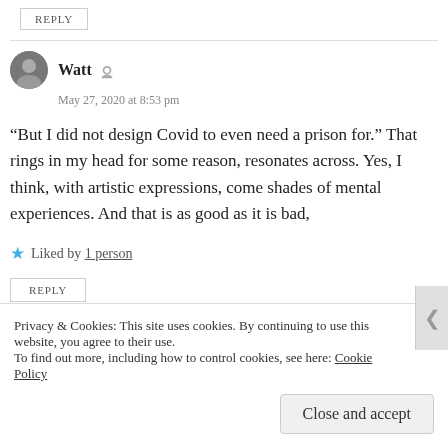REPLY
Watt
May 27, 2020 at 8:53 pm
“But I did not design Covid to even need a prison for.” That rings in my head for some reason, resonates across. Yes, I think, with artistic expressions, come shades of mental experiences. And that is as good as it is bad,
Liked by 1 person
REPLY
Privacy & Cookies: This site uses cookies. By continuing to use this website, you agree to their use.
To find out more, including how to control cookies, see here: Cookie Policy
Close and accept